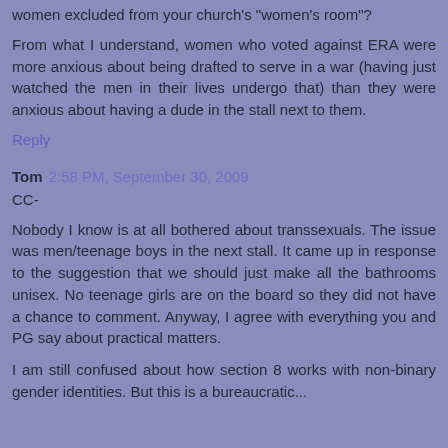women excluded from your church's "women's room"?
From what I understand, women who voted against ERA were more anxious about being drafted to serve in a war (having just watched the men in their lives undergo that) than they were anxious about having a dude in the stall next to them.
Reply
Tom 2:58 PM, September 30, 2009
CC-
Nobody I know is at all bothered about transsexuals. The issue was men/teenage boys in the next stall. It came up in response to the suggestion that we should just make all the bathrooms unisex. No teenage girls are on the board so they did not have a chance to comment. Anyway, I agree with everything you and PG say about practical matters.
I am still confused about how section 8 works with non-binary gender identities. But this is a bureaucratic...